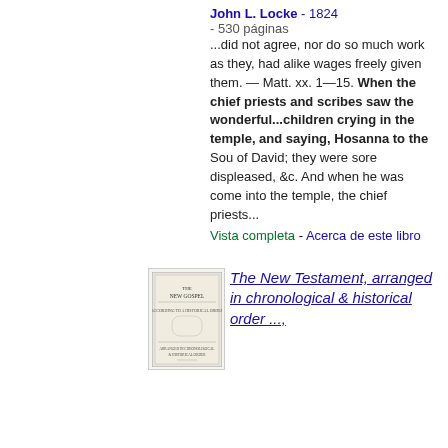John L. Locke - 1824 - 530 páginas
...did not agree, nor do so much work as they, had alike wages freely given them. — Matt. xx. 1—15. When the chief priests and scribes saw the wonderful...children crying in the temple, and saying, Hosanna to the Sou of David; they were sore displeased, &c. And when he was come into the temple, the chief priests...
Vista completa - Acerca de este libro
[Figure (illustration): Thumbnail image of a book cover for The New Testament arranged in chronological & historical order]
The New Testament, arranged in chronological & historical order ...,